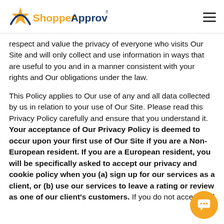ShopperApproved
respect and value the privacy of everyone who visits Our Site and will only collect and use information in ways that are useful to you and in a manner consistent with your rights and Our obligations under the law.
This Policy applies to Our use of any and all data collected by us in relation to your use of Our Site. Please read this Privacy Policy carefully and ensure that you understand it. Your acceptance of Our Privacy Policy is deemed to occur upon your first use of Our Site if you are a Non-European resident. If you are a European resident, you will be specifically asked to accept our privacy and cookie policy when you (a) sign up for our services as a client, or (b) use our services to leave a rating or review as one of our client's customers. If you do not accept and